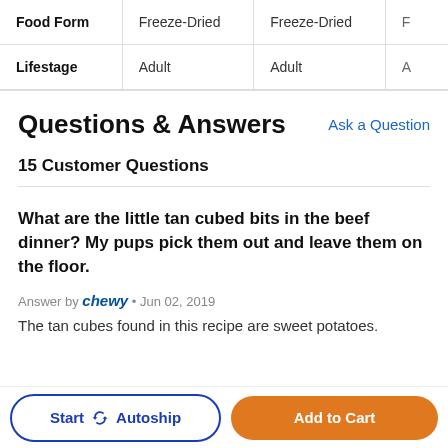|  | Col1 | Col2 | Col3 |
| --- | --- | --- | --- |
| Food Form | Freeze-Dried | Freeze-Dried | F |
| Lifestage | Adult | Adult | A |
Questions & Answers
Ask a Question
15 Customer Questions
What are the little tan cubed bits in the beef dinner? My pups pick them out and leave them on the floor.
Answer by chewy • Jun 02, 2019
The tan cubes found in this recipe are sweet potatoes.